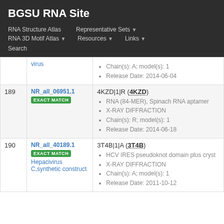BGSU RNA Site
RNA Structure Atlas | Representative Sets ▼ | RNA 3D Motif Atlas ▼ | Resources ▼ | Links ▼ | Search
| # | ID / Match | Entry Details |
| --- | --- | --- |
|  | virus | Chain(s): A; model(s): 1 | Release Date: 2014-06-04 |
| 189 | NR_all_06951.1 EXACT MATCH | 4KZD|1|R (4KZD)
RNA (84-MER), Spinach RNA aptamer
X-RAY DIFFRACTION
Chain(s): R; model(s): 1
Release Date: 2014-06-18 |
| 190 | NR_all_40189.1 EXACT MATCH Hepacivirus C,synthetic construct | 3T4B|1|A (3T4B)
HCV IRES pseudoknot domain plus cryst
X-RAY DIFFRACTION
Chain(s): A; model(s): 1
Release Date: 2011-10-12 |